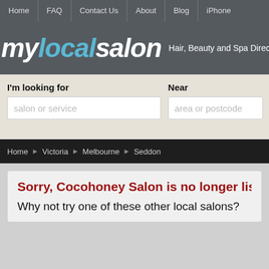Home | FAQ | Contact Us | About | Blog | iPhone
mylocalsalon Hair, Beauty and Spa Directory
I'm looking for  salon or service   Near  area or postcode
Home > Victoria > Melbourne > Seddon
Sorry, Cocohoney Salon is no longer listed
Why not try one of these other local salons?
Essential Beauty  (36 reviews)